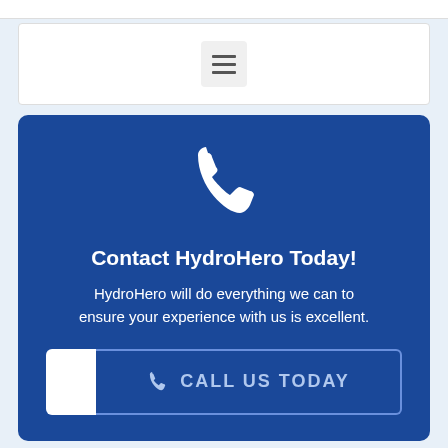[Figure (screenshot): Navigation bar with hamburger menu icon button on white background]
Contact HydroHero Today!
HydroHero will do everything we can to ensure your experience with us is excellent.
CALL US TODAY